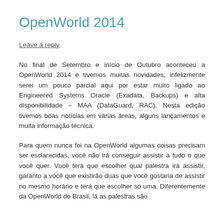OpenWorld 2014
Leave a reply
No final de Setembro e início de Outubro aconteceu a OpenWorld 2014 e tivemos muitas novidades, infelizmente serei um pouco parcial aqui por estar muito ligado ao Engineered Systems Oracle (Exadata, Backups) e alta disponibilidade – MAA (DataGuard, RAC). Nesta edição tivemos boas notícias em várias áreas, alguns lançamentos e muita informação técnica.
Para quem nunca foi na OpenWorld algumas coisas precisam ser esclarecidas, você não irá conseguir assistir a tudo o que você quer. Você terá que escolher qual palestra irá assistir, garanto a você que existirão duas que você gostaria de assistir no mesmo horário e terá que escolher só uma. Diferentemente da OpenWorld do Brasil, lá as palestras são